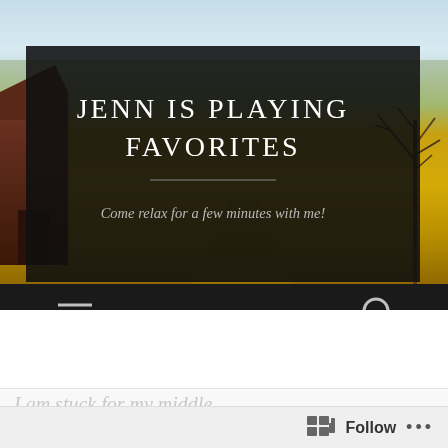[Figure (photo): Blog header image: outdoor landscape with golden yellow field, blue sky, red barn on left, bare tree on right, with a dark semi-transparent overlay box containing the blog title and tagline, and a dark navigation bar at the bottom of the image]
JENN IS PLAYING FAVORITES
Come relax for a few minutes with me!
I am stuck for my middle...
Follow